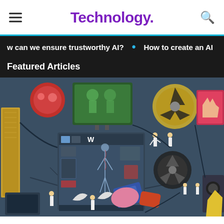Technology.
w can we ensure trustworthy AI? • How to create an AI
Featured Articles
[Figure (illustration): A detailed illustrated scene showing a complex machine room with robots, scientists, screens displaying human anatomy, mechanical components, recycling symbols, and various technological elements in a dark blue-grey color palette with colorful accent pieces.]